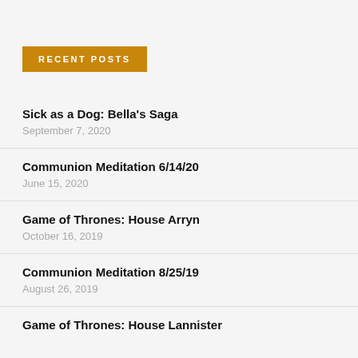RECENT POSTS
Sick as a Dog: Bella's Saga
September 7, 2020
Communion Meditation 6/14/20
June 15, 2020
Game of Thrones: House Arryn
October 16, 2019
Communion Meditation 8/25/19
August 26, 2019
Game of Thrones: House Lannister